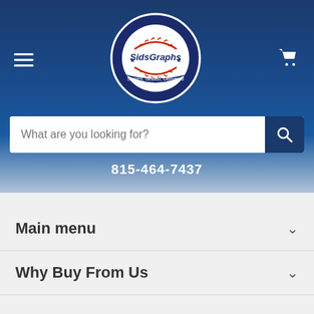[Figure (logo): SidsGraphs logo — circular navy badge with baseball graphic and text 'SidsGraphs' and 'Signed, Sealed, Delivered']
815-464-7437
Main menu
Why Buy From Us
Contact
22829 South Mustang